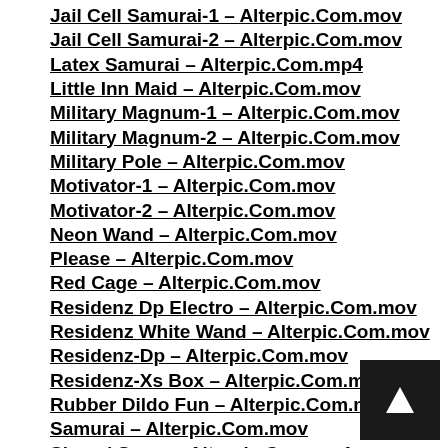Jail Cell Samurai-1 – Alterpic.Com.mov
Jail Cell Samurai-2 – Alterpic.Com.mov
Latex Samurai – Alterpic.Com.mp4
Little Inn Maid – Alterpic.Com.mov
Military Magnum-1 – Alterpic.Com.mov
Military Magnum-2 – Alterpic.Com.mov
Military Pole – Alterpic.Com.mov
Motivator-1 – Alterpic.Com.mov
Motivator-2 – Alterpic.Com.mov
Neon Wand – Alterpic.Com.mov
Please – Alterpic.Com.mov
Red Cage – Alterpic.Com.mov
Residenz Dp Electro – Alterpic.Com.mov
Residenz White Wand – Alterpic.Com.mov
Residenz-Dp – Alterpic.Com.mov
Residenz-Xs Box – Alterpic.Com.mov
Rubber Dildo Fun – Alterpic.Com.mov
Samurai – Alterpic.Com.mov
Shovel Snow – Alterpic.Com.mp4
Small Cage-1 – Alterpic.Com.mov
Small Cage-2 – Alterpic.Com...